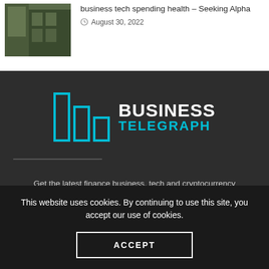[Figure (photo): Thumbnail image of a building exterior, dark facade with vegetation]
business tech spending health – Seeking Alpha
August 30, 2022
[Figure (logo): Business Telegraph logo with teal bar chart icons and text BUSINESS TELEGRAPH]
Get the latest finance business, tech and cryptocurrency
This website uses cookies. By continuing to use this site, you accept our use of cookies.
ACCEPT